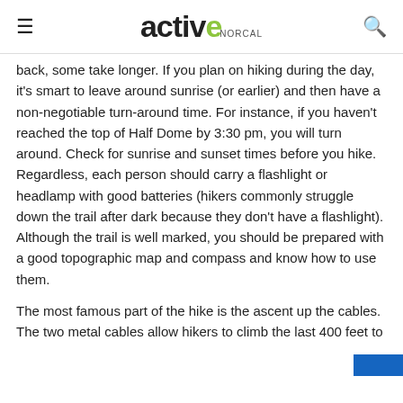active NORCAL
back, some take longer. If you plan on hiking during the day, it's smart to leave around sunrise (or earlier) and then have a non-negotiable turn-around time. For instance, if you haven't reached the top of Half Dome by 3:30 pm, you will turn around. Check for sunrise and sunset times before you hike. Regardless, each person should carry a flashlight or headlamp with good batteries (hikers commonly struggle down the trail after dark because they don't have a flashlight). Although the trail is well marked, you should be prepared with a good topographic map and compass and know how to use them.
The most famous part of the hike is the ascent up the cables. The two metal cables allow hikers to climb the last 400 feet to